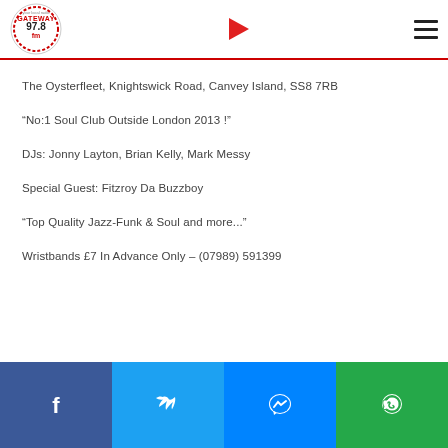Gateway 97.8 FM
The Oysterfleet, Knightswick Road, Canvey Island, SS8 7RB
“No:1 Soul Club Outside London 2013 !”
DJs: Jonny Layton, Brian Kelly, Mark Messy
Special Guest: Fitzroy Da Buzzboy
“Top Quality Jazz-Funk & Soul and more...”
Wristbands £7 In Advance Only – (07989) 591399
Facebook | Twitter | Messenger | WhatsApp